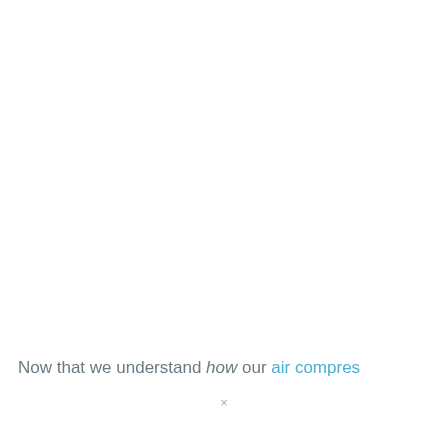Now that we understand how our air compres…